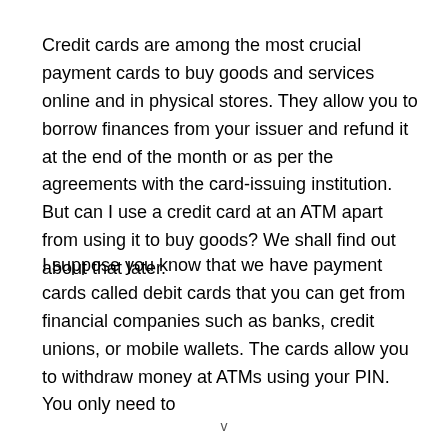Credit cards are among the most crucial payment cards to buy goods and services online and in physical stores. They allow you to borrow finances from your issuer and refund it at the end of the month or as per the agreements with the card-issuing institution. But can I use a credit card at an ATM apart from using it to buy goods? We shall find out about that later.
I suppose you know that we have payment cards called debit cards that you can get from financial companies such as banks, credit unions, or mobile wallets. The cards allow you to withdraw money at ATMs using your PIN. You only need to
v